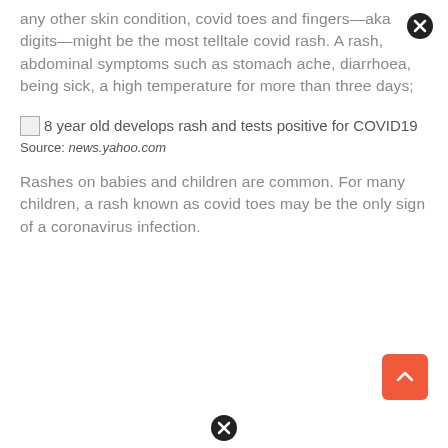any other skin condition, covid toes and fingers—aka digits—might be the most telltale covid rash. A rash, abdominal symptoms such as stomach ache, diarrhoea, being sick, a high temperature for more than three days;
[Figure (screenshot): Link thumbnail icon followed by text: 8 year old develops rash and tests positive for COVID19]
Source: news.yahoo.com
Rashes on babies and children are common. For many children, a rash known as covid toes may be the only sign of a coronavirus infection.